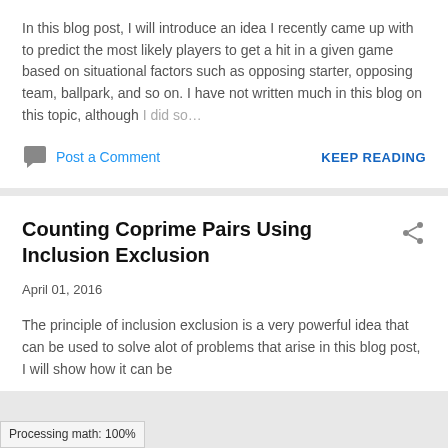In this blog post, I will introduce an idea I recently came up with to predict the most likely players to get a hit in a given game based on situational factors such as opposing starter, opposing team, ballpark, and so on. I have not written much in this blog on this topic, although I did so...
Post a Comment
KEEP READING
Counting Coprime Pairs Using Inclusion Exclusion
April 01, 2016
The principle of inclusion exclusion is a very powerful idea that can be used to solve alot of problems that arise in this blog post, I will show how it can be
Processing math: 100%